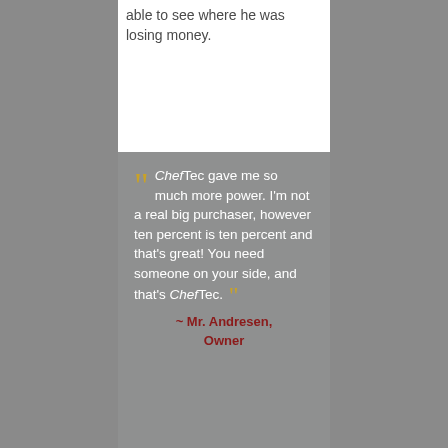able to see where he was losing money.
ChefTec gave me so much more power. I'm not a real big purchaser, however ten percent is ten percent and that's great! You need someone on your side, and that's ChefTec.
~ Mr. Andresen, Owner